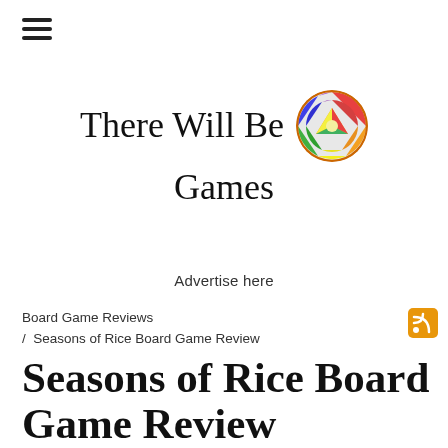[Figure (other): Hamburger menu icon (three horizontal lines)]
There Will Be Games
[Figure (logo): Circular colorful stained-glass style logo for There Will Be Games website]
Advertise here
Board Game Reviews / Seasons of Rice Board Game Review
[Figure (other): RSS feed icon (orange square with white wifi/signal symbol)]
Seasons of Rice Board Game Review
oliverkinne   Updated November 20, 2020